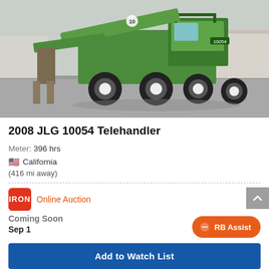[Figure (photo): Green JLG 10054 Telehandler with forklift attachment parked in a lot on a sunny day, outdoor setting]
2008 JLG 10054 Telehandler
Meter: 396 hrs
🇺🇸 California
(416 mi away)
IRON Online Auction
Coming Soon
Sep 1
Add to Watch List